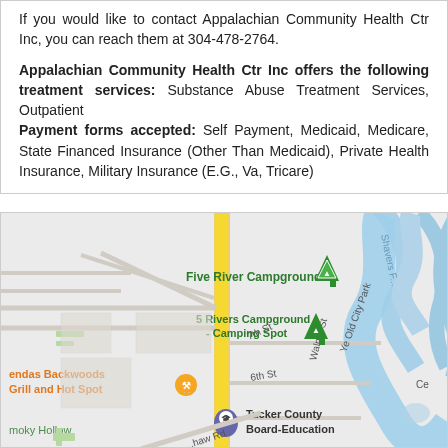If you would like to contact Appalachian Community Health Ctr Inc, you can reach them at 304-478-2764.
Appalachian Community Health Ctr Inc offers the following treatment services: Substance Abuse Treatment Services, Outpatient
Payment forms accepted: Self Payment, Medicaid, Medicare, State Financed Insurance (Other Than Medicaid), Private Health Insurance, Military Insurance (E.G., Va, Tricare)
[Figure (map): Google Maps screenshot showing the area around Tucker County Board-Education with nearby landmarks including Five River Campgrounds, 5 Rivers Campground - Camping Spot, endas Backwoods Grill and Hot Spot, Smoky Hollow, Shavers Fork river, streets including 7th St, 6th St, Walnut St, Ye Old City Park, and a road at the bottom.]